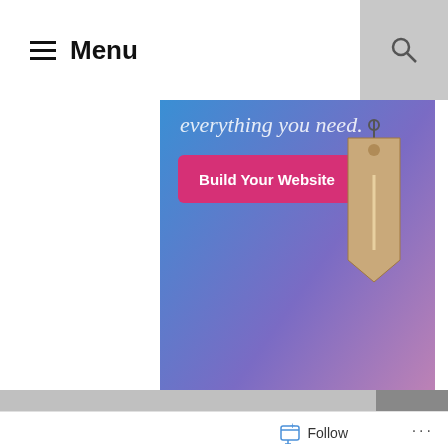≡ Menu
[Figure (illustration): WordPress.com advertisement banner with blue-to-pink gradient background, text 'everything you need.' at top, a pink 'Build Your Website' button, a hanging price tag graphic, and WordPress.com logo at the bottom.]
REPORT THIS AD
Follow ...